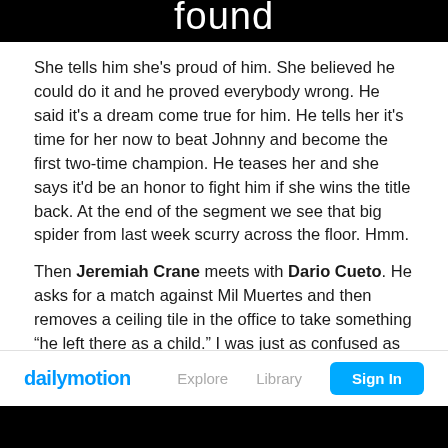found
She tells him she's proud of him. She believed he could do it and he proved everybody wrong. He said it's a dream come true for him. He tells her it's time for her now to beat Johnny and become the first two-time champion. He teases her and she says it'd be an honor to fight him if she wins the title back. At the end of the segment we see that big spider from last week scurry across the floor. Hmm.
Then Jeremiah Crane meets with Dario Cueto. He asks for a match against Mil Muertes and then removes a ceiling tile in the office to take something “he left there as a child.” I was just as confused as Dario was here, haha.
dailymotion  Explore  Library  Sign In